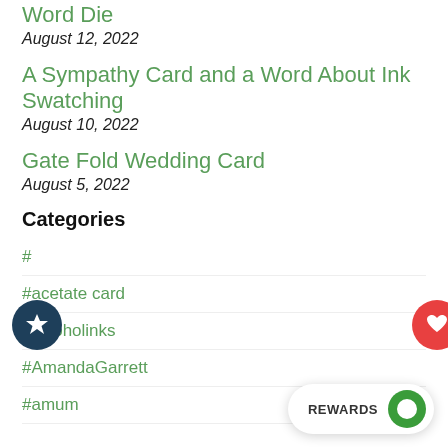Word Die
August 12, 2022
A Sympathy Card and a Word About Ink Swatching
August 10, 2022
Gate Fold Wedding Card
August 5, 2022
Categories
#
#acetate card
#alcoholinks
#AmandaGarrett
#amum